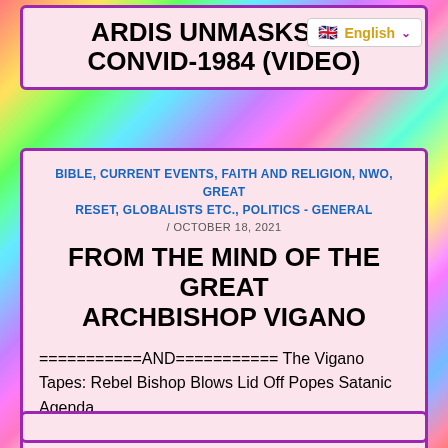ARDIS UNMASKS (...) CONVID-1984 (VIDEO)
English
BIBLE, CURRENT EVENTS, FAITH AND RELIGION, NWO, GREAT RESET, GLOBALISTS ETC., POLITICS - GENERAL / OCTOBER 18, 2021
FROM THE MIND OF THE GREAT ARCHBISHOP VIGANO
===========AND=========== The Vigano Tapes: Rebel Bishop Blows Lid Off Popes Satanic Agenda https://tv.gab.com/channel/realalexjones/view/the-vigano-tapes-rebel-bishop-blows-6168684f5e5b95b06acd5458